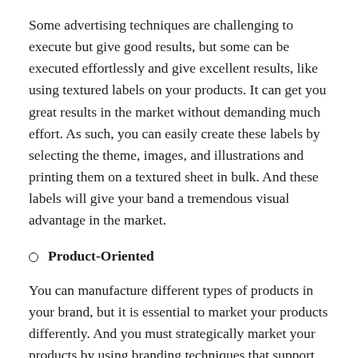Some advertising techniques are challenging to execute but give good results, but some can be executed effortlessly and give excellent results, like using textured labels on your products. It can get you great results in the market without demanding much effort. As such, you can easily create these labels by selecting the theme, images, and illustrations and printing them on a textured sheet in bulk. And these labels will give your band a tremendous visual advantage in the market.
Product-Oriented
You can manufacture different types of products in your brand, but it is essential to market your products differently. And you must strategically market your products by using branding techniques that support the product's theme, type, and functions. For example, you can use custom textured labels for your products, such as food products, beverages, healthcare products, etc. And if you manufacture healthcare products, then you can design the labels related to...